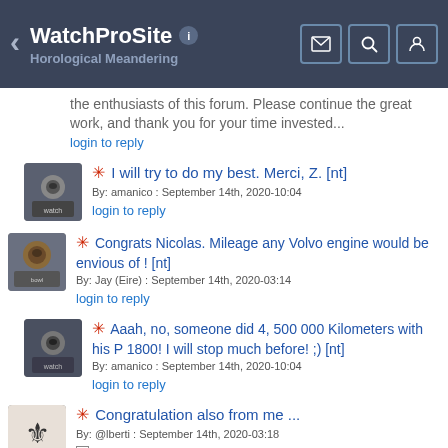WatchProSite — Horological Meandering
the enthusiasts of this forum. Please continue the great work, and thank you for your time invested...
login to reply
* I will try to do my best. Merci, Z. [nt] By: amanico : September 14th, 2020-10:04 login to reply
* Congrats Nicolas. Mileage any Volvo engine would be envious of ! [nt] By: Jay (Eire) : September 14th, 2020-03:14 login to reply
* Aaah, no, someone did 4, 500 000 Kilometers with his P 1800! I will stop much before! ;) [nt] By: amanico : September 14th, 2020-10:04 login to reply
* Congratulation also from me ... By: @lberti : September 14th, 2020-03:18 login to reply